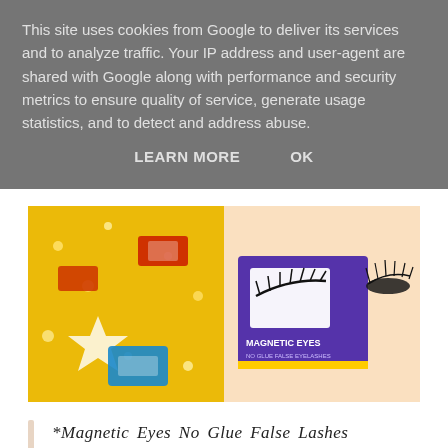This site uses cookies from Google to deliver its services and to analyze traffic. Your IP address and user-agent are shared with Google along with performance and security metrics to ensure quality of service, generate usage statistics, and to detect and address abuse.
LEARN MORE    OK
[Figure (photo): Two-panel image: left panel shows golden glittery festive items; right panel shows a purple 'Magnetic Eyes No Glue False Eyelashes' product box and false lashes on white background.]
*Magnetic Eyes No Glue False Lashes (£12.99)
Before I move onto the last couple of products and the exciting gift card giveaway, I wanted to quickly mention a